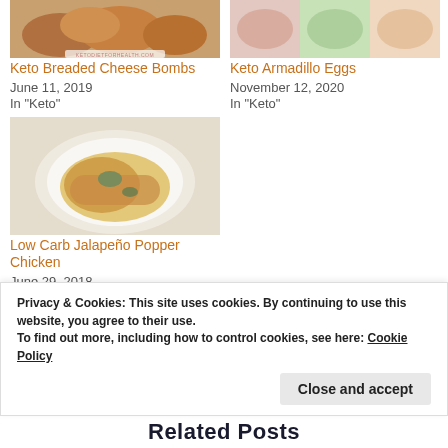[Figure (photo): Keto Breaded Cheese Bombs food photo with watermark ketodietforhealth.com]
Keto Breaded Cheese Bombs
June 11, 2019
In "Keto"
[Figure (photo): Keto Armadillo Eggs food photo]
Keto Armadillo Eggs
November 12, 2020
In "Keto"
[Figure (photo): Low Carb Jalapeño Popper Chicken food photo, dish on white plate]
Low Carb Jalapeño Popper Chicken
June 29, 2018
In "Keto"
Privacy & Cookies: This site uses cookies. By continuing to use this website, you agree to their use.
To find out more, including how to control cookies, see here: Cookie Policy
Close and accept
Related Posts